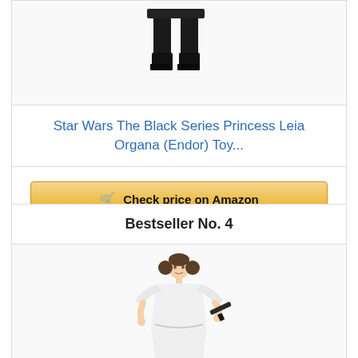[Figure (photo): Product image of Star Wars Black Series Princess Leia Organa (Endor) action figure, showing legs and lower body in black outfit with boots]
Star Wars The Black Series Princess Leia Organa (Endor) Toy...
[Figure (other): Check price on Amazon button with shopping cart icon]
Bestseller No. 4
[Figure (photo): Product image of Star Wars Princess Leia action figure in white dress holding a blaster pistol with bun hairstyle]